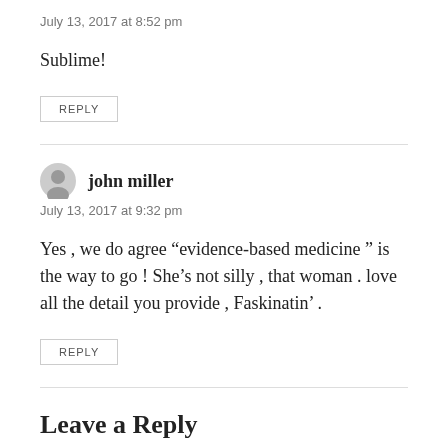July 13, 2017 at 8:52 pm
Sublime!
REPLY
john miller
July 13, 2017 at 9:32 pm
Yes , we do agree “evidence-based medicine ” is the way to go ! She’s not silly , that woman . love all the detail you provide , Faskinatin’ .
REPLY
Leave a Reply